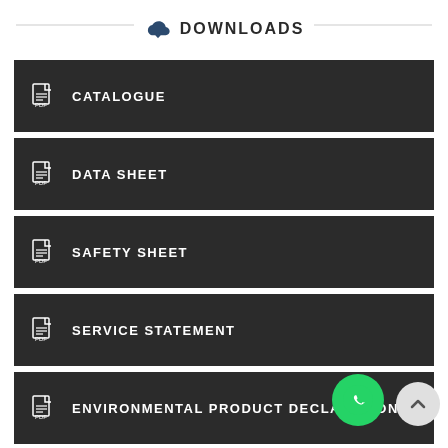DOWNLOADS
CATALOGUE
DATA SHEET
SAFETY SHEET
SERVICE STATEMENT
ENVIRONMENTAL PRODUCT DECLARATION